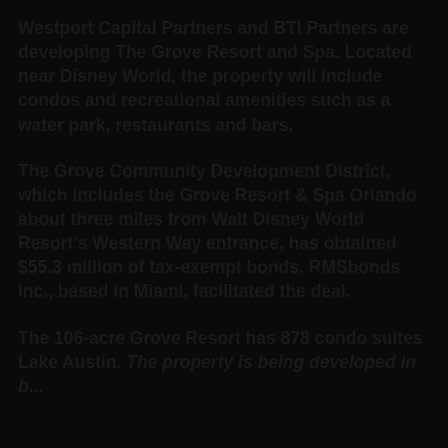Westport Capital Partners and BTI Partners are developing The Grove Resort and Spa. Located near Disney World, the property will include condos and recreational amenities such as a water park, restaurants and bars.
The Grove Community Development District, which includes the Grove Resort & Spa Orlando about three miles from Walt Disney World Resort's Western Way entrance, has obtained $55.3 million of tax-exempt bonds. RMSbonds Inc., based in Miami, facilitated the deal.
The 106-acre Grove Resort has 878 condo suites Lake Austin. The property is being developed in b...